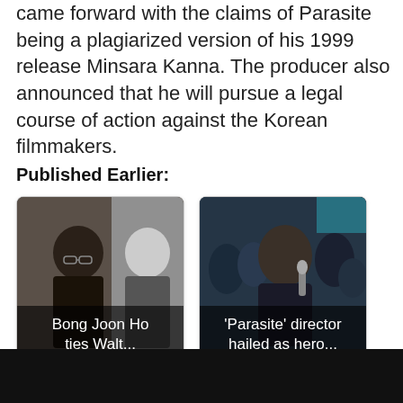came forward with the claims of Parasite being a plagiarized version of his 1999 release Minsara Kanna. The producer also announced that he will pursue a legal course of action against the Korean filmmakers.
Published Earlier:
[Figure (photo): Card with photo of Bong Joon Ho alongside a black and white image of a man in a tuxedo, with overlay text 'Bong Joon Ho ties Walt...']
[Figure (photo): Card with photo of 'Parasite' director Bong Joon Ho surrounded by crowd/media, with overlay text "'Parasite' director hailed as hero..."]
[Figure (photo): Black bar / video embed area at the bottom of the page]